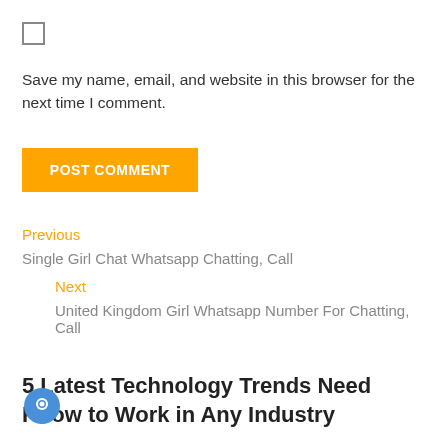[Figure (other): Checkbox (unchecked square)]
Save my name, email, and website in this browser for the next time I comment.
POST COMMENT
Previous
Single Girl Chat Whatsapp Chatting, Call
Next
United Kingdom Girl Whatsapp Number For Chatting, Call
5 Latest Technology Trends Need Know to Work in Any Industry